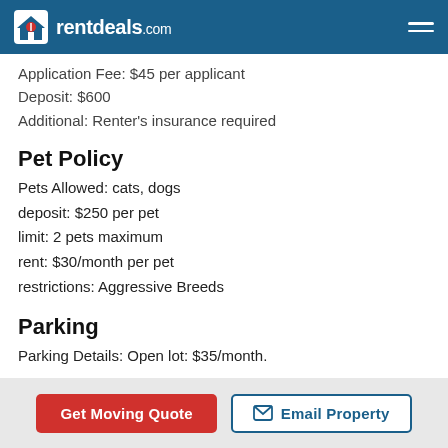rentdeals.com
Application Fee: $45 per applicant
Deposit: $600
Additional: Renter's insurance required
Pet Policy
Pets Allowed: cats, dogs
deposit: $250 per pet
limit: 2 pets maximum
rent: $30/month per pet
restrictions: Aggressive Breeds
Parking
Parking Details: Open lot: $35/month.
Get Moving Quote   Email Property